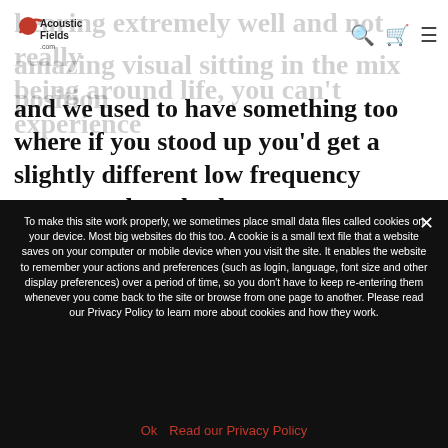[Figure (logo): Acoustic Fields .com logo with red swoosh icon]
and we used to have something too where if you stood up you'd get a slightly different low frequency response that also has gone now.
To make this site work properly, we sometimes place small data files called cookies on your device. Most big websites do this too. A cookie is a small text file that a website saves on your computer or mobile device when you visit the site. It enables the website to remember your actions and preferences (such as login, language, font size and other display preferences) over a period of time, so you don't have to keep re-entering them whenever you come back to the site or browse from one page to another. Please read our Privacy Policy to learn more about cookies and how they work.
Ok   Read our Privacy Policy